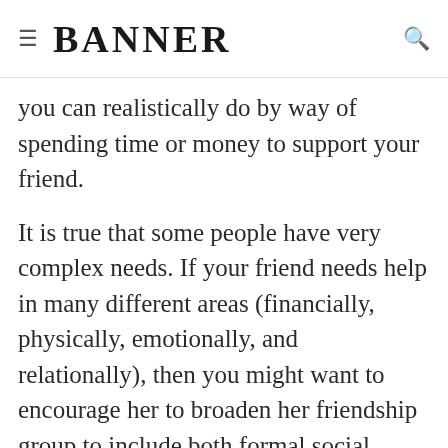≡ BANNER 🔍
you can realistically do by way of spending time or money to support your friend.
It is true that some people have very complex needs. If your friend needs help in many different areas (financially, physically, emotionally, and relationally), then you might want to encourage her to broaden her friendship group to include both formal social services and informal community or church supports.
Organizations such as WrapAround involve the person requesting help in the decision-